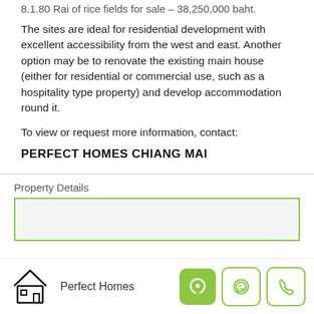8.1.80 Rai of rice fields for sale – 38,250,000 baht.
The sites are ideal for residential development with excellent accessibility from the west and east. Another option may be to renovate the existing main house (either for residential or commercial use, such as a hospitality type property) and develop accommodation round it.
To view or request more information, contact:
PERFECT HOMES CHIANG MAI
Property Details
Perfect Homes